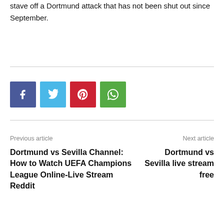stave off a Dortmund attack that has not been shut out since September.
[Figure (infographic): Four social share buttons: Facebook (blue), Twitter (light blue), Pinterest (red), WhatsApp (green)]
Previous article
Dortmund vs Sevilla Channel: How to Watch UEFA Champions League Online-Live Stream Reddit
Next article
Dortmund vs Sevilla live stream free